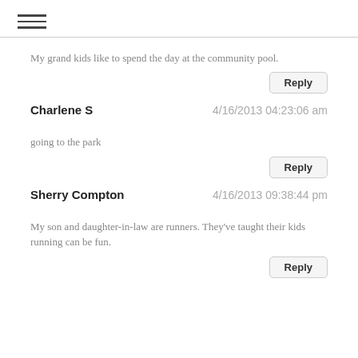[Figure (other): Hamburger menu icon (three horizontal lines)]
My grand kids like to spend the day at the community pool.
Reply
Charlene S   4/16/2013 04:23:06 am
going to the park
Reply
Sherry Compton   4/16/2013 09:38:44 pm
My son and daughter-in-law are runners. They've taught their kids running can be fun.
Reply